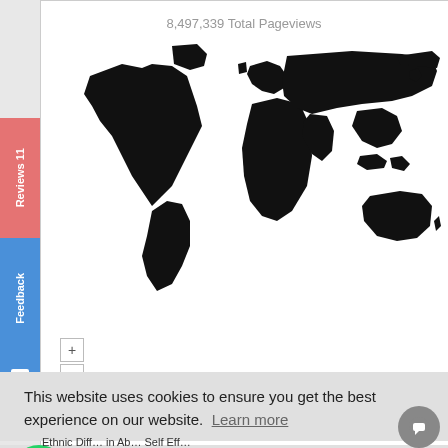8,497,339 Total Pageviews
[Figure (map): World map showing pageview distribution, countries filled in black]
This website uses cookies to ensure you get the best experience on our website. Learn more
Yes, I understand